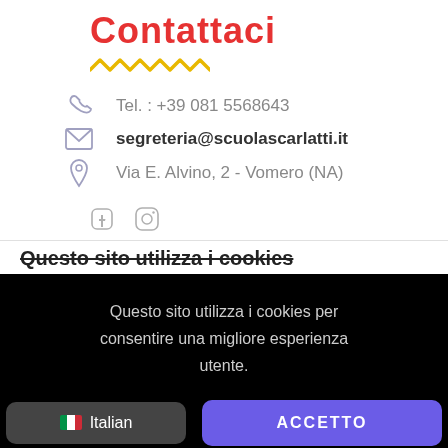Contattaci
Tel. : +39 081 5568643
segreteria@scuolascarlatti.it
Via E. Alvino, 2 - Vomero (NA)
Questo sito utilizza i cookies
Questo sito utilizza i cookies per consentire una migliore esperienza utente.
Italian
ACCETTO